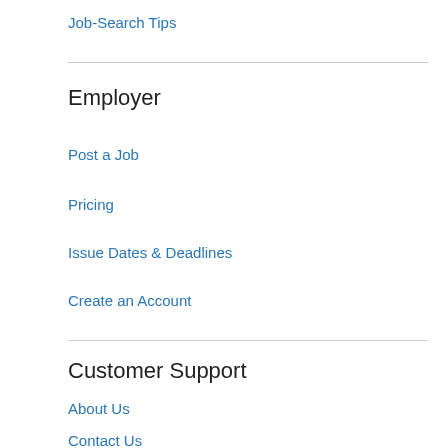Job-Search Tips
Employer
Post a Job
Pricing
Issue Dates & Deadlines
Create an Account
Customer Support
About Us
Contact Us
Terms & Conditions